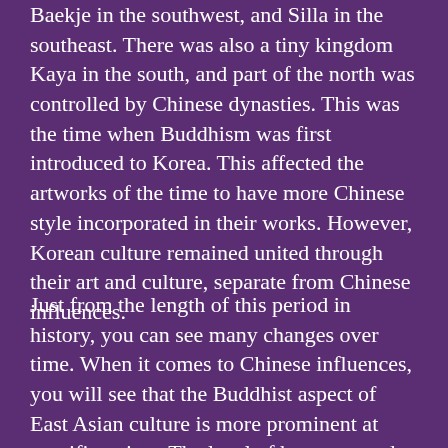Baekje in the southwest, and Silla in the southeast. There was also a tiny kingdom Kaya in the south, and part of the north was controlled by Chinese dynasties. This was the time when Buddhism was first introduced to Korea. This affected the artworks of the time to have more Chinese style incorporated in their works. However, Korean culture remained united through their art and culture, separate from Chinese influences.
Just from the length of this period in history, you can see many changes over time. When it comes to Chinese influences, you will see that the Buddhist aspect of East Asian culture is more prominent at specific points. The level of harmony and peace in Korean society and culture also contributes to how long these phases of Korean history last, not only in the Three Kingdoms Period but with their next major steps in the Korean timeline.